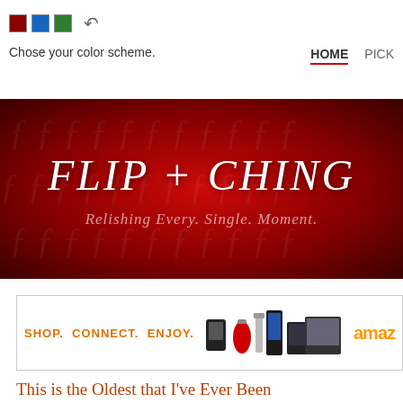Chose your color scheme.  HOME  PICK
[Figure (illustration): Red banner with decorative pattern background showing 'FLIP + CHING' in large italic white text and subtitle 'Relishing Every. Single. Moment.' in lighter italic text]
[Figure (infographic): Amazon affiliate ad banner with 'SHOP. CONNECT. ENJOY.' text and product images and Amazon logo]
This is the Oldest that I’ve Ever Been
Posted on October 31, 2010 by Ching under Family, Life.
It’s been fun celebrating turning a year older. I really don’t mind be… LO… actual birthday was yesterday, but we decided to have our party a we… becau… figured no one would show up otherwise. There are way too many parties going on